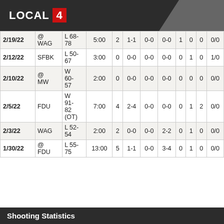LOCAL 4
| Date | Opp | Result | Min | Pts | FG | 3PT | FT | OR | TR | A | BS/ST |
| --- | --- | --- | --- | --- | --- | --- | --- | --- | --- | --- | --- |
| 2/19/22 | @WAG | L 68-78 | 5:00 | 2 | 1-1 | 0-0 | 0-0 | 1 | 0 | 0 | 0/0 |
| 2/12/22 | SFBK | L 50-67 | 3:00 | 0 | 0-0 | 0-0 | 0-0 | 0 | 1 | 0 | 1/0 |
| 2/10/22 | @MW | W 60-57 | 2:00 | 0 | 0-0 | 0-0 | 0-0 | 0 | 0 | 0 | 0/0 |
| 2/5/22 | FDU | W 91-82 (OT) | 7:00 | 4 | 2-4 | 0-0 | 0-0 | 0 | 1 | 2 | 0/0 |
| 2/3/22 | WAG | L 52-54 | 2:00 | 2 | 0-0 | 0-0 | 2-2 | 0 | 1 | 0 | 0/0 |
| 1/30/22 | @FDU | L 55-75 | 13:00 | 5 | 1-1 | 0-0 | 3-4 | 0 | 1 | 0 | 0/0 |
Shooting Statistics